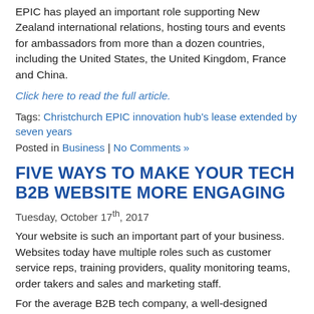EPIC has played an important role supporting New Zealand international relations, hosting tours and events for ambassadors from more than a dozen countries, including the United States, the United Kingdom, France and China.
Click here to read the full article.
Tags: Christchurch EPIC innovation hub's lease extended by seven years
Posted in Business | No Comments »
FIVE WAYS TO MAKE YOUR TECH B2B WEBSITE MORE ENGAGING
Tuesday, October 17th, 2017
Your website is such an important part of your business. Websites today have multiple roles such as customer service reps, training providers, quality monitoring teams, order takers and sales and marketing staff.
For the average B2B tech company, a well-designed...